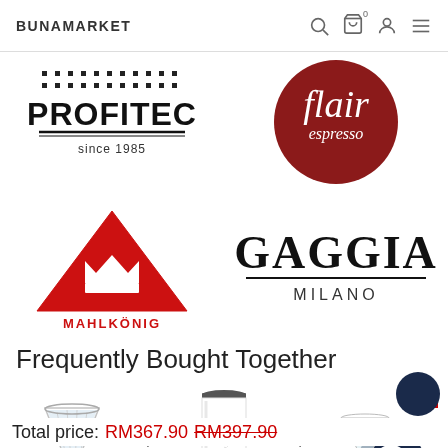BUNAMARKET
[Figure (logo): Profitec logo — dotted pattern above, PROFITEC text with 'since 1985' below, black on white]
[Figure (logo): Flair espresso logo — white script on dark red circle]
[Figure (logo): Mahlkönig logo — red triangle with crown and MAHLKÖNIG text]
[Figure (logo): Gaggia Milano logo — GAGGIA large serif text with MILANO below, black underline]
Frequently Bought Together
[Figure (photo): Glass pour-over dripper on dark silicone base]
[Figure (photo): White insulated travel tumbler/cup]
[Figure (photo): White glass dripper with navy carrying case/strap]
Total price: RM367.90  RM397.90